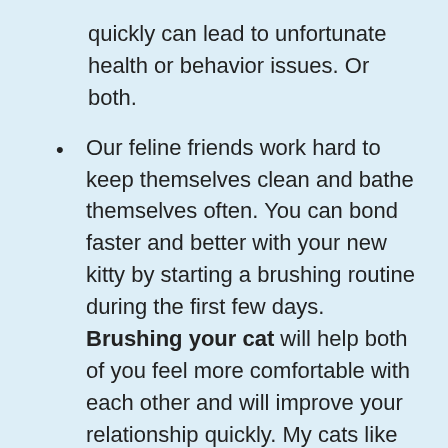quickly can lead to unfortunate health or behavior issues. Or both.
Our feline friends work hard to keep themselves clean and bathe themselves often. You can bond faster and better with your new kitty by starting a brushing routine during the first few days. Brushing your cat will help both of you feel more comfortable with each other and will improve your relationship quickly. My cats like brushes that are made of rubber. I think the brush feels like their mom's tongue and this kind doesn't scratch their skin.